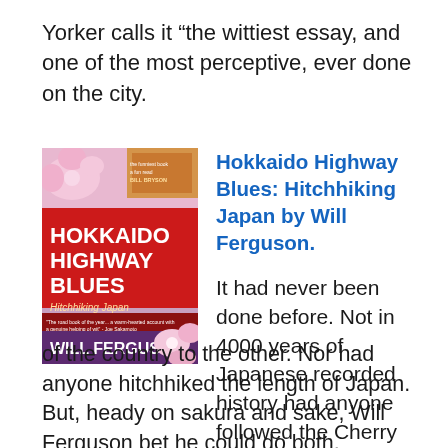Yorker calls it “the wittiest essay, and one of the most perceptive, ever done on the city.
[Figure (illustration): Book cover of Hokkaido Highway Blues: Hitchhiking Japan by Will Ferguson, featuring colorful Japanese imagery with pink flowers, blues and reds, with the title in bold red letters.]
Hokkaido Highway Blues: Hitchhiking Japan by Will Ferguson.

It had never been done before. Not in 4000 years of Japanese recorded history had anyone followed the Cherry Blossom Front from one end of the country to the other. Nor had anyone hitchhiked the length of Japan. But, heady on sakura and sake, Will Ferguson bet he could do both.